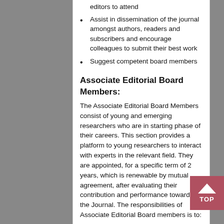editors to attend
Assist in dissemination of the journal amongst authors, readers and subscribers and encourage colleagues to submit their best work
Suggest competent board members
Associate Editorial Board Members:
The Associate Editorial Board Members consist of young and emerging researchers who are in starting phase of their careers. This section provides a platform to young researchers to interact with experts in the relevant field. They are appointed, for a specific term of 2 years, which is renewable by mutual agreement, after evaluating their contribution and performance towards the Journal. The responsibilities of Associate Editorial Board members is to:
Carry out peer-reviewing of submitted